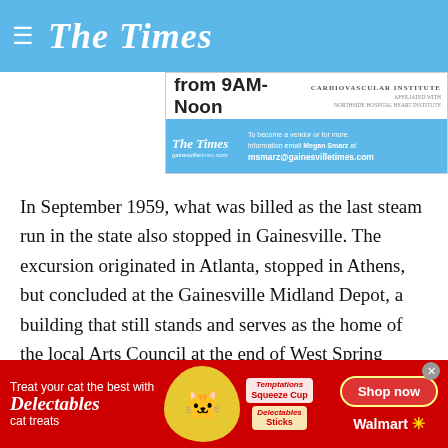The Times
[Figure (infographic): Partial advertisement banner showing 'from 9AM-Noon', Cardiovascular Institute logo, The Times gainesvilletimes.com logo, and contact info: 'To become a vendor or for more information email Megan Smarz at msmarz@gainesvilletimes.com']
In September 1959, what was billed as the last steam run in the state also stopped in Gainesville. The excursion originated in Atlanta, stopped in Athens, but concluded at the Gainesville Midland Depot, a building that still stands and serves as the home of the local Arts Council at the end of West Spring Street.
The train carried more than 600 passengers, some of them from as far away as Miami, New York and California. It started
[Figure (infographic): Bottom advertisement for Delectables cat treats by Walmart: 'Treat your cat the best with Delectables cat treats', with cat image, Squeeze Cup and Sticks products, and Shop now button for Walmart]